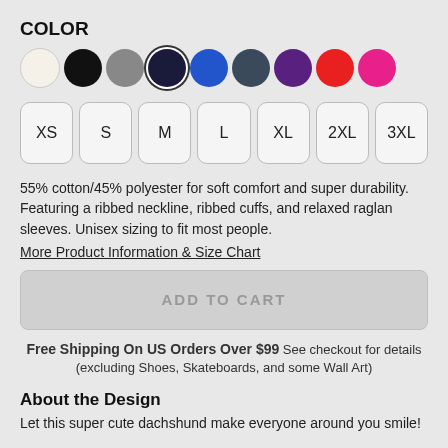COLOR
[Figure (other): Color swatches: cream/white, black, gray, dark navy (selected with ring), blue, slate/dark gray, purple, red, pink/magenta]
[Figure (other): Size selector buttons: XS, S, M, L, XL, 2XL, 3XL]
55% cotton/45% polyester for soft comfort and super durability. Featuring a ribbed neckline, ribbed cuffs, and relaxed raglan sleeves. Unisex sizing to fit most people.
More Product Information & Size Chart
[Figure (other): ADD TO CART button (grayed out/disabled)]
Free Shipping On US Orders Over $99 See checkout for details (excluding Shoes, Skateboards, and some Wall Art)
About the Design
Let this super cute dachshund make everyone around you smile!